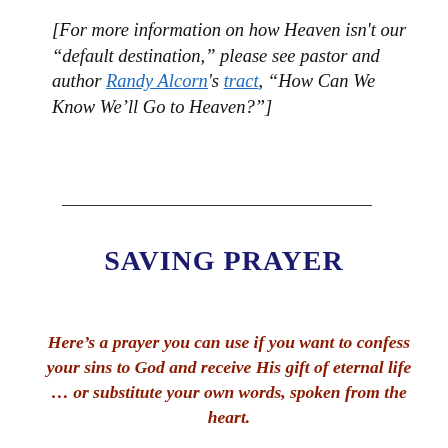[For more information on how Heaven isn't our "default destination," please see pastor and author Randy Alcorn's tract, "How Can We Know We'll Go to Heaven?"]
SAVING PRAYER
Here's a prayer you can use if you want to confess your sins to God and receive His gift of eternal life ... or substitute your own words, spoken from the heart.